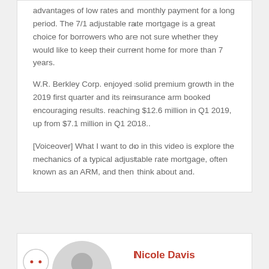advantages of low rates and monthly payment for a long period. The 7/1 adjustable rate mortgage is a great choice for borrowers who are not sure whether they would like to keep their current home for more than 7 years.
W.R. Berkley Corp. enjoyed solid premium growth in the 2019 first quarter and its reinsurance arm booked encouraging results. reaching $12.6 million in Q1 2019, up from $7.1 million in Q1 2018..
[Voiceover] What I want to do in this video is explore the mechanics of a typical adjustable rate mortgage, often known as an ARM, and then think about and.
Nicole Davis